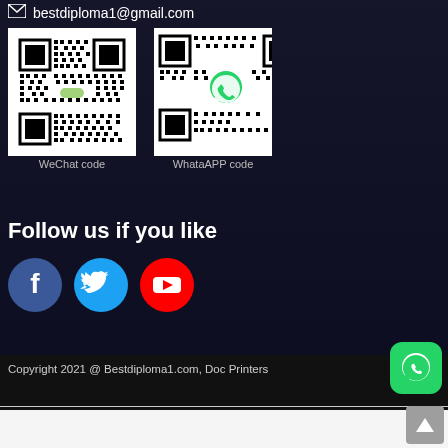bestdiploma1@gmail.com
[Figure (other): WeChat QR code]
WeChat code
[Figure (other): WhatsApp QR code (partially visible)]
WhataAPP code
Follow us if you like
[Figure (other): Social media icons: Facebook, Twitter, YouTube]
Copyright 2021 @ Bestdiploma1.com, Doc Printers
[Figure (other): WhatsApp green button icon]
[Figure (other): Scroll to top button]